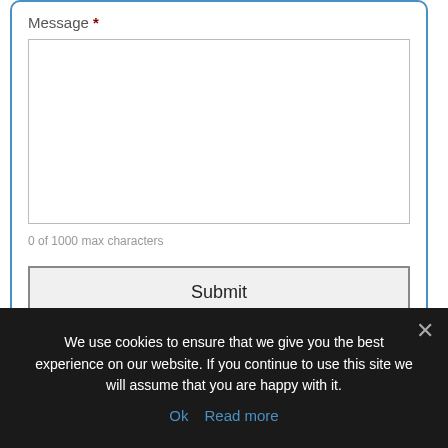Message *
0 of 1000 max characters
Submit
We use cookies to ensure that we give you the best experience on our website. If you continue to use this site we will assume that you are happy with it.
Ok   Read more